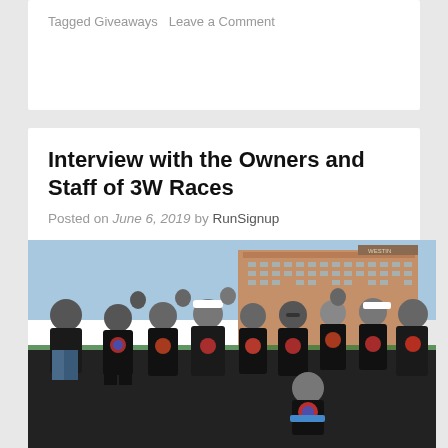Tagged Giveaways   Leave a Comment
Interview with the Owners and Staff of 3W Races
Posted on June 6, 2019 by RunSignup
[Figure (photo): Group photo of women in black t-shirts with colorful logos posing outdoors in front of a large hotel building, flexing and smiling]